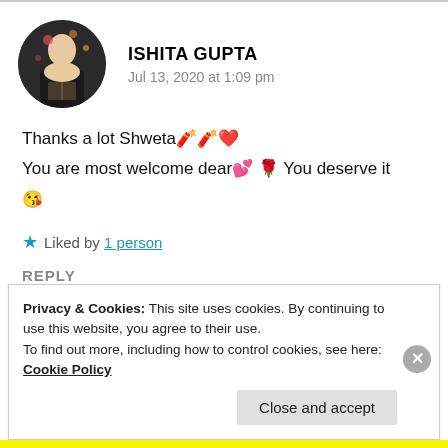[Figure (photo): Circular avatar photo of a person, dark toned image]
ISHITA GUPTA
Jul 13, 2020 at 1:09 pm
Thanks a lot Shweta💥💥❤️
You are most welcome dear💕 🌹 You deserve it
😘
★ Liked by 1 person
REPLY
Privacy & Cookies: This site uses cookies. By continuing to use this website, you agree to their use.
To find out more, including how to control cookies, see here: Cookie Policy
Close and accept